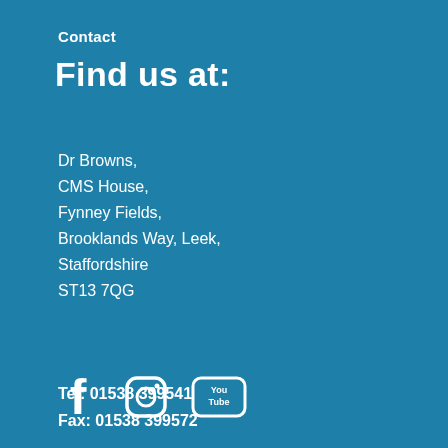Contact
Find us at:
Dr Browns,
CMS House,
Fynney Fields,
Brooklands Way, Leek,
Staffordshire
ST13 7QG
Tel: 01538 399541
Fax: 01538 399572
[Figure (logo): Social media icons: Facebook, Instagram, YouTube]